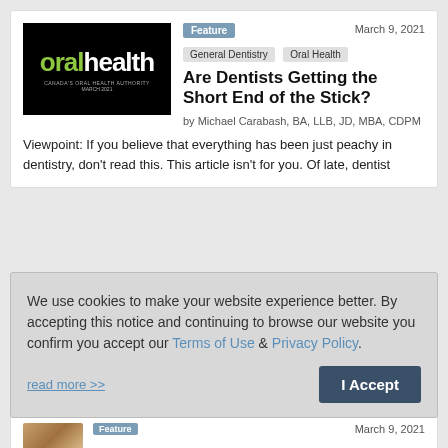[Figure (logo): Oral Health magazine logo — black background with 'oral' in green and 'health' in white bold text]
Feature
March 9, 2021
General Dentistry   Oral Health
Are Dentists Getting the Short End of the Stick?
by Michael Carabash, BA, LLB, JD, MBA, CDPM
Viewpoint: If you believe that everything has been just peachy in dentistry, don't read this. This article isn't for you. Of late, dentist
We use cookies to make your website experience better. By accepting this notice and continuing to browse our website you confirm you accept our Terms of Use & Privacy Policy.
read more >>
I Accept
Feature
March 9, 2021